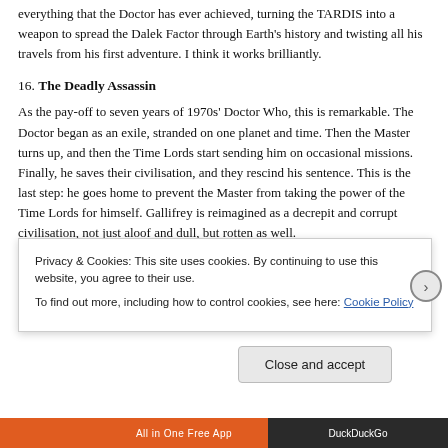everything that the Doctor has ever achieved, turning the TARDIS into a weapon to spread the Dalek Factor through Earth's history and twisting all his travels from his first adventure. I think it works brilliantly.
16. The Deadly Assassin
As the pay-off to seven years of 1970s' Doctor Who, this is remarkable. The Doctor began as an exile, stranded on one planet and time. Then the Master turns up, and then the Time Lords start sending him on occasional missions. Finally, he saves their civilisation, and they rescind his sentence. This is the last step: he goes home to prevent the Master from taking the power of the Time Lords for himself. Gallifrey is reimagined as a decrepit and corrupt civilisation, not just aloof and dull, but rotten as well.
T... lo... lo...
Privacy & Cookies: This site uses cookies. By continuing to use this website, you agree to their use.
To find out more, including how to control cookies, see here: Cookie Policy
Close and accept